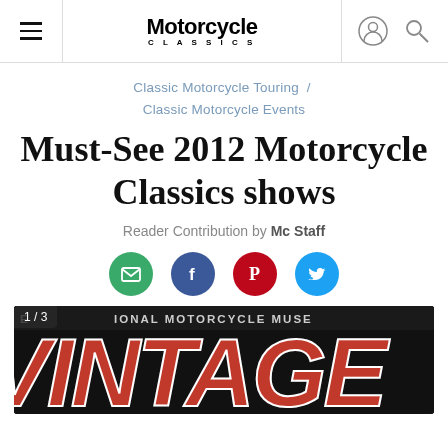Motorcycle Classics
Classic Motorcycle Touring / Classic Motorcycle Events
Must-See 2012 Motorcycle Classics shows
Reader Contribution by Mc Staff
[Figure (other): Social sharing icons: email (green), Facebook (blue), Pinterest (red), Twitter (blue)]
[Figure (photo): Image 1 of 3 showing the National Motorcycle Museum Vintage banner with large red and white VINTAGE lettering on dark background]